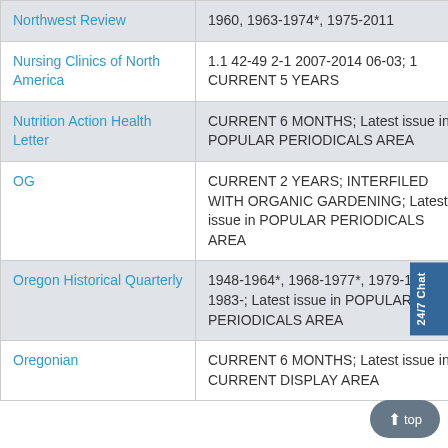| Title | Holdings |
| --- | --- |
| Northwest Review | 1960, 1963-1974*, 1975-2011 |
| Nursing Clinics of North America | 1.1 42-49 2-1 2007-2014 06-03; 1 CURRENT 5 YEARS |
| Nutrition Action Health Letter | CURRENT 6 MONTHS; Latest issue in POPULAR PERIODICALS AREA |
| OG | CURRENT 2 YEARS; INTERFILED WITH ORGANIC GARDENING; Latest issue in POPULAR PERIODICALS AREA |
| Oregon Historical Quarterly | 1948-1964*, 1968-1977*, 1979-1982*, 1983-; Latest issue in POPULAR PERIODICALS AREA |
| Oregonian | CURRENT 6 MONTHS; Latest issue in CURRENT DISPLAY AREA |